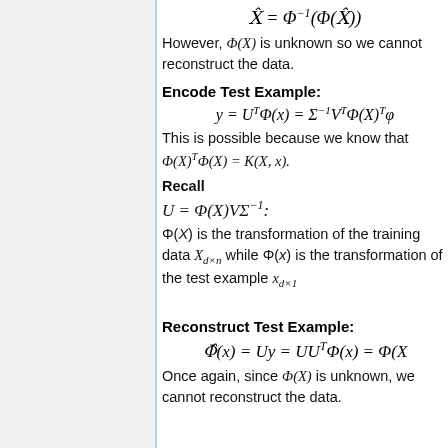However, Φ(X) is unknown so we cannot reconstruct the data.
Encode Test Example:
This is possible because we know that Φ(X)^T Φ(X) = K(X, x).
Recall U = Φ(X)VΣ^{-1}: Φ(X) is the transformation of the training data X_{d×n} while Φ(x) is the transformation of the test example x_{d×1}
Reconstruct Test Example:
Once again, since Φ(X) is unknown, we cannot reconstruct the data.